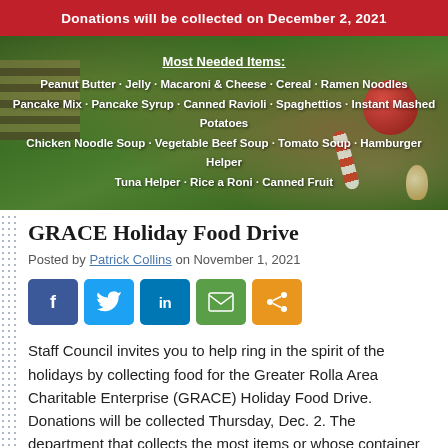[Figure (infographic): Holiday food drive banner with Christmas tree background, red bow decoration, red top bar with text 'Donations will be collected on December 2, 2021', and overlaid text listing most needed items: Peanut Butter, Jelly, Macaroni & Cheese, Cereal, Ramen Noodles, Pancake Mix, Pancake Syrup, Canned Ravioli, Spaghettios, Instant Mashed Potatoes, Chicken Noodle Soup, Vegetable Beef Soup, Tomato Soup, Hamburger Helper, Tuna Helper, Rice a Roni, Canned Fruit]
GRACE Holiday Food Drive
Posted by Patrick Collins on November 1, 2021
[Figure (infographic): Social share buttons: Facebook (blue), Twitter (light blue), LinkedIn (dark blue), Email (green), Share (orange)]
Staff Council invites you to help ring in the spirit of the holidays by collecting food for the Greater Rolla Area Charitable Enterprise (GRACE) Holiday Food Drive. Donations will be collected Thursday, Dec. 2. The department that collects the most items or whose container is judged most creative will win a traveling